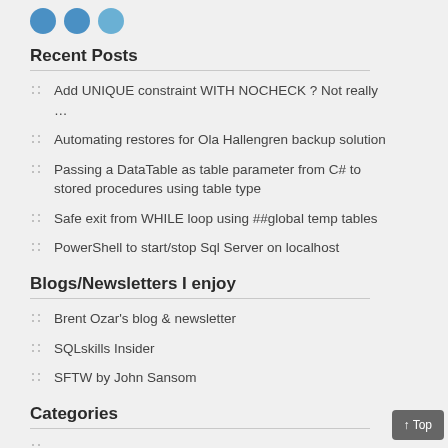Recent Posts
Add UNIQUE constraint WITH NOCHECK ? Not really …
Automating restores for Ola Hallengren backup solution
Passing a DataTable as table parameter from C# to stored procedures using table type
Safe exit from WHILE loop using ##global temp tables
PowerShell to start/stop Sql Server on localhost
Blogs/Newsletters I enjoy
Brent Ozar's blog & newsletter
SQLskills Insider
SFTW by John Sansom
Categories